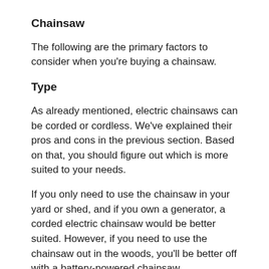Chainsaw
The following are the primary factors to consider when you're buying a chainsaw.
Type
As already mentioned, electric chainsaws can be corded or cordless. We've explained their pros and cons in the previous section. Based on that, you should figure out which is more suited to your needs.
If you only need to use the chainsaw in your yard or shed, and if you own a generator, a corded electric chainsaw would be better suited. However, if you need to use the chainsaw out in the woods, you'll be better off with a battery-powered chainsaw.